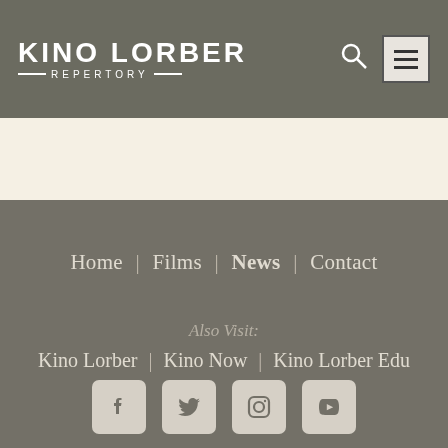KINO LORBER REPERTORY
Home | Films | News | Contact
Also Visit:
Kino Lorber | Kino Now | Kino Lorber Edu
[Figure (illustration): Social media icons: Facebook, Twitter, Instagram, YouTube]